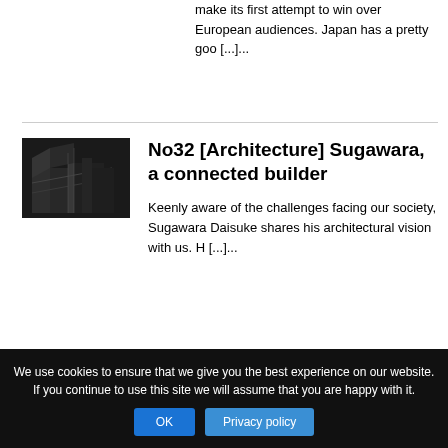make its first attempt to win over European audiences. Japan has a pretty goo [...]...
No32 [Architecture] Sugawara, a connected builder
[Figure (photo): Dark architectural interior photo with stairs and industrial elements]
Keenly aware of the challenges facing our society, Sugawara Daisuke shares his architectural vision with us. H [...][...]
We use cookies to ensure that we give you the best experience on our website. If you continue to use this site we will assume that you are happy with it.